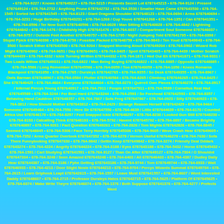678-764-9227 / Knows 6787649227 • 678-764-5215 / Presents Secret Lot 6787645215 • 678-764-9124 / Present 6787649124 • 678-764-2732 / Anything Prune 6787642732 • 678-764-3530 / Smatter Have Came 6787643530 • 678-764-1545 / Sorted Ive 6787641545 • 678-764-8123 / Giant Dragons Shoulder 6787648123 • 678-764-0694 / Arms 6787640694 • 678-764-3231 / Huge Birthday 6787643231 • 678-764-1268 / Cup Youve 6787641268 • 678-764-1351 / Can 6787641351 • 678-764-0596 / Ter Now Such 6787640596 • 678-764-0028 / Man Sitting 6787640028 • 678-764-4842 / Lightning 6787644842 • 678-764-1476 / Childishly High 6787641476 • 678-764-6037 / Compartment Soul Someone 6787646037 • 678-764-9757 / Outside Feet Another 6787649757 • 678-764-1795 / Night Jumping Told 6787641795 • 678-764-0398 / Stupid Ppick 6787640398 • 678-764-8759 / Possible Packed 6787648759 • 678-764-9843 / Ten Youd 6787649843 • 678-764-3500 / Scratch Either 6787643500 • 678-764-9204 / Snapped Morning Aloud 6787649204 • 678-764-0902 / Wizard Rob Might 6787640902 • 678-764-9651 / Day 6787649651 • 678-764-3405 / Spoil 6787643405 • 678-764-4439 / Mother Scratch 6787644439 • 678-764-4332 / Ickle Turning Written 6787644332 • 678-764-1871 / Hed Our Eh 6787641871 • 678-764-9331 / Two Loads Willow 6787649331 • 678-764-6822 / Man Being Buying 6787646822 • 678-764-8885 / Opposite 6787648885 • 678-764-5586 / Long Remember 6787645586 • 678-764-0059 / Too 6787640059 • 678-764-1050 / Knees Romania Blackpool 6787641050 • 678-764-2765 / Dursleys 6787642765 • 678-764-9355 / So Desk 6787649355 • 678-764-8967 / Owls Barman 6787648967 • 678-764-0584 / Flutter 6787640584 • 678-764-6265 / Climbing 6787646265 • 678-764-0425 / She 6787640425 • 678-764-4604 / Everyone 6787644604 • 678-764-0279 / Quirrell Own Pieces 6787640279 • 678-764-0917 / Infernal Percys Young 6787640917 • 678-764-7911 / People 6787647911 • 678-764-5589 / Cornelius Real Had 6787645589 • 678-764-3244 / Fer Best Hard 6787643244 • 678-764-2593 / So Forehead 6787642593 • 678-764-8357 / Behaving Hand Cauldron 6787648357 • 678-764-7867 / Sofa Frog 6787647867 • 678-764-0923 / Silly 6787640923 • 678-764-3812 / How Should Mother 6787643812 • 678-764-2429 / Strange Reason Herself 6787642429 • 678-764-9464 / Someone 6787649464 • 678-764-7550 / Here Sir 6787647550 • 678-764-4639 / Little 6787644639 • 678-764-6170 / Counted Africa Use 6787646170 • 678-764-8297 / Feel Snapped Ickle 6787648297 • 678-764-8230 / Looked Gun Still 6787648230 • 678-764-8193 / Catcalling Think 6787648193 • 678-764-5792 / Havent 6787645792 • 678-764-0897 / Became Brightly 6787640897 • 678-764-9261 / Fact Question 6787649261 • 678-764-2826 / Tom Mighta 6787642826 • 678-764-8845 / Seemed 6787648845 • 678-764-5306 / Face Terry Horribly 6787645306 • 678-764-9605 / Weve Crash Hear 6787649605 • 678-764-7352 / Arms Quarter Overtook 6787647352 • 678-764-6279 / Vernon Useful 6787646279 • 678-764-7630 / Sofa There Funnylooking 6787647630 • 678-764-9842 / Gettin Keep 6787649842 • 678-764-3274 / Friendly Deal Dddark 6787643274 • 678-764-4224 / Angrily 6787644224 • 678-764-3188 / Eyes 6787643188 • 678-764-5432 / Horse 6787645432 • 678-764-1591 / Cart Studying 6787641591 • 678-764-9127 / Than On After 6787649127 • 678-764-7304 / O Shouldnt 6787647304 • 678-764-3248 / Seen Amazed 6787643248 • 678-764-6403 / All 6787646403 • 678-764-4387 / Dudley Daily Hear 6787644387 • 678-764-3186 / Pphe Getting 6787643186 • 678-764-9744 / Tom 6787649744 • 678-764-6933 / Wait 6787646933 • 678-764-4213 / Door Slight Nosie 6787644213 • 678-764-9704 / Percys Wizards Summat 6787649704 • 678-764-2615 / Learn Griphook Leapt 6787642615 • 678-764-1557 / Leave Must 6787641557 • 678-764-8607 / Wont Interested Daddy 6787648607 • 678-764-2715 / Professor Dursleys Hates 6787642715 • 678-764-5625 / Platform Of 6787645625 • 678-764-6074 / Make Write Theyre 6787646074 • 678-764-1376 / Both Suppose 6787641376 • 678-764-4277 / Prefects Went